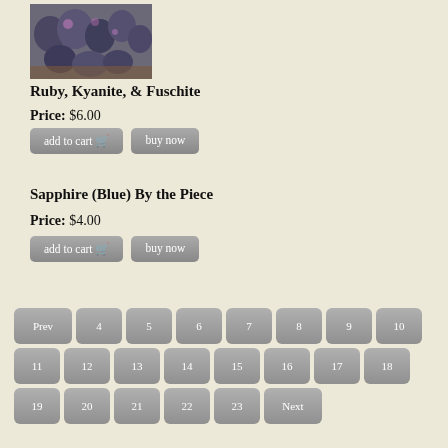[Figure (photo): Photo of ruby, kyanite, and fuschite mineral stones on a wooden surface]
Ruby, Kyanite, & Fuschite
Price: $6.00
Sapphire (Blue) By the Piece
Price: $4.00
Pagination: Prev 4 5 6 7 8 9 10 11 12 13 14 15 16 17 18 19 20 21 22 23 Next